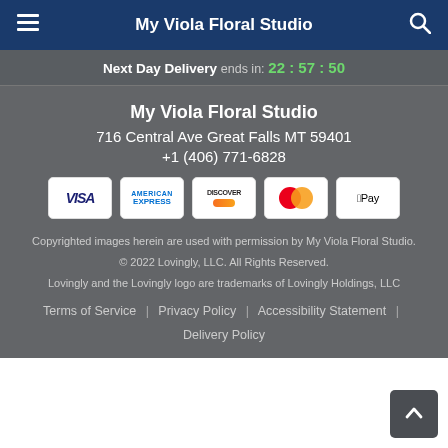My Viola Floral Studio
Next Day Delivery ends in: 22 : 57 : 50
My Viola Floral Studio
716 Central Ave Great Falls MT 59401
+1 (406) 771-6828
[Figure (other): Payment method icons: Visa, American Express, Discover, MasterCard, Apple Pay]
Copyrighted images herein are used with permission by My Viola Floral Studio.
© 2022 Lovingly, LLC. All Rights Reserved.
Lovingly and the Lovingly logo are trademarks of Lovingly Holdings, LLC
Terms of Service | Privacy Policy | Accessibility Statement | Delivery Policy